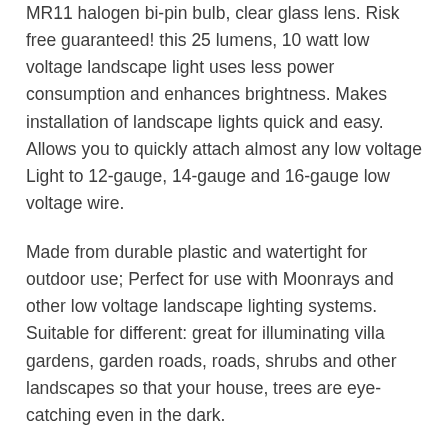MR11 halogen bi-pin bulb, clear glass lens. Risk free guaranteed! this 25 lumens, 10 watt low voltage landscape light uses less power consumption and enhances brightness. Makes installation of landscape lights quick and easy. Allows you to quickly attach almost any low voltage Light to 12-gauge, 14-gauge and 16-gauge low voltage wire.
Made from durable plastic and watertight for outdoor use; Perfect for use with Moonrays and other low voltage landscape lighting systems. Suitable for different: great for illuminating villa gardens, garden roads, roads, shrubs and other landscapes so that your house, trees are eye-catching even in the dark.
Malibu 8308-9603-01 Low Voltage 20 Watt Landscape